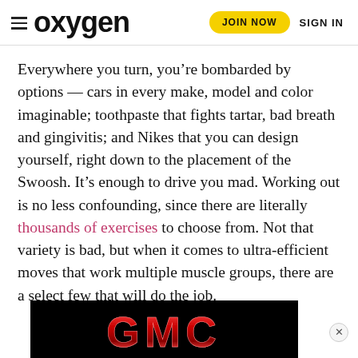oxygen  JOIN NOW  SIGN IN
Everywhere you turn, you’re bombarded by options — cars in every make, model and color imaginable; toothpaste that fights tartar, bad breath and gingivitis; and Nikes that you can design yourself, right down to the placement of the Swoosh. It’s enough to drive you mad. Working out is no less confounding, since there are literally thousands of exercises to choose from. Not that variety is bad, but when it comes to ultra-efficient moves that work multiple muscle groups, there are a select few that will do the job.
These eight exercises fit that bill, and while they aren’t the only ones on the map that can accomplish this aim, they are pretty darn aw[esome. And unlike some fitness trends and “plug ‘n’ play” th[eories that come and go, these moves are ... just
[Figure (logo): GMC logo in red metallic text on black background, advertisement banner]